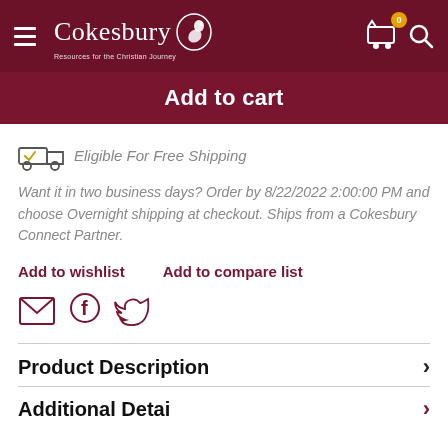Cokesbury — Resources for the Christian Journey
Add to cart
Eligible For Free Shipping
Want it in two business days? Order by 8/22/2022 2:00:00 PM and choose Overnight shipping at checkout. Ships from a Cokesbury Connect Partner.
Add to wishlist   Add to compare list
[Figure (illustration): Social sharing icons: email envelope, Facebook f, Twitter bird]
Product Description
Additional Details